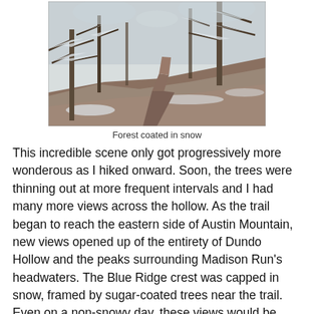[Figure (photo): A snow-covered forest trail winding through trees heavily laden with snow, viewed from a hillside perspective. The trail is narrow and dirt, with snowy vegetation on both sides.]
Forest coated in snow
This incredible scene only got progressively more wonderous as I hiked onward. Soon, the trees were thinning out at more frequent intervals and I had many more views across the hollow. As the trail began to reach the eastern side of Austin Mountain, new views opened up of the entirety of Dundo Hollow and the peaks surrounding Madison Run's headwaters. The Blue Ridge crest was capped in snow, framed by sugar-coated trees near the trail. Even on a non-snowy day, these views would be quite impressive. The view was dominated by Trayfoot Mountain's pyramidal peak.